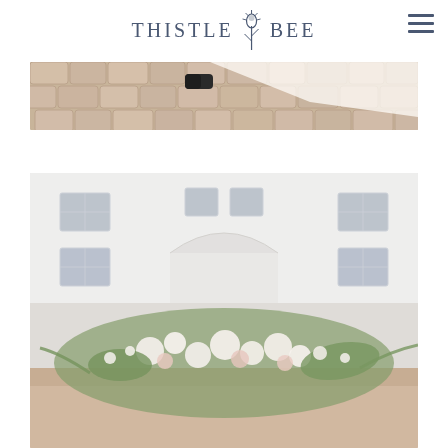Thistle Bee
[Figure (photo): Close-up photo of cobblestone pavement with what appears to be a black shoe and white fabric (possibly wedding dress hem) visible]
[Figure (photo): Outdoor photo of a white building with windows in the background, and a lush floral arrangement of white and pink flowers with greenery on what appears to be a wooden table in the foreground]